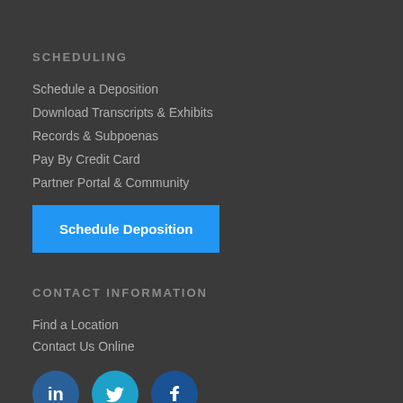SCHEDULING
Schedule a Deposition
Download Transcripts & Exhibits
Records & Subpoenas
Pay By Credit Card
Partner Portal & Community
Schedule Deposition
CONTACT INFORMATION
Find a Location
Contact Us Online
[Figure (illustration): Social media icons: LinkedIn, Twitter, Facebook]